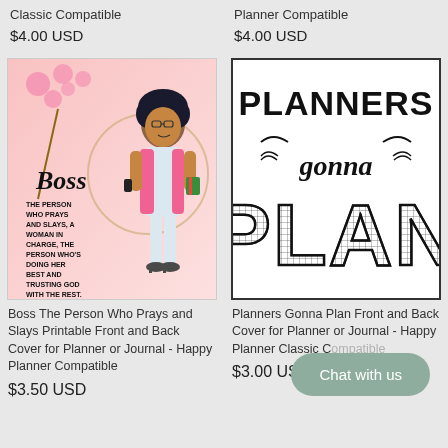Classic Compatible
$4.00 USD
Planner Compatible
$4.00 USD
[Figure (illustration): Illustrated Black woman in a pink blazer holding a phone and green planner, with pink cherry blossoms. Text overlay reads: Boss - The person who prays and slays, a woman in charge, the person who's doing her best and trusting God with the rest.]
[Figure (illustration): Typography image with bold text: PLANNERS gonna PLAN. The word PLAN uses a checkered/grid pattern fill. Decorative swashes around 'gonna'.]
Boss The Person Who Prays and Slays Printable Front and Back Cover for Planner or Journal - Happy Planner Compatible
$3.50 USD
Planners Gonna Plan Front and Back Cover for Planner or Journal - Happy Planner Classic Compatible
$3.00 USD